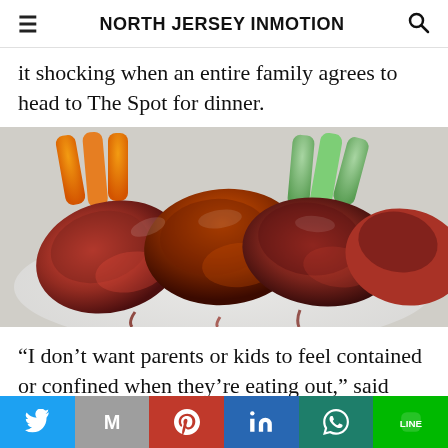NORTH JERSEY INMOTION
it shocking when an entire family agrees to head to The Spot for dinner.
[Figure (photo): Close-up photo of glazed BBQ chicken wings on a white plate with carrot and celery sticks in the background.]
“I don’t want parents or kids to feel contained or confined when they’re eating out,” said